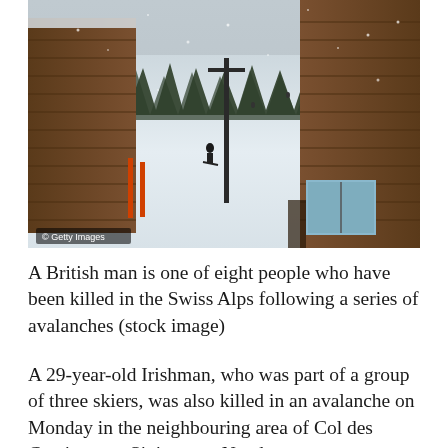[Figure (photo): A snowy ski resort scene with chalets on either side, a ski slope in the middle, snow-covered trees in the background, a lone skier on the slope, and a utility pole. Heavy snowfall visible. Getty Images watermark in bottom left.]
A British man is one of eight people who have been killed in the Swiss Alps following a series of avalanches (stock image)
A 29-year-old Irishman, who was part of a group of three skiers, was also killed in an avalanche on Monday in the neighbouring area of Col des Cantiones at Siviez near Nendaz.